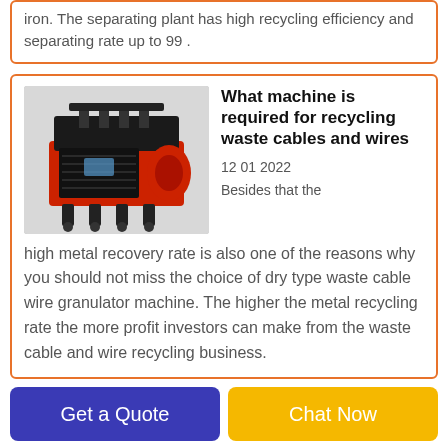iron. The separating plant has high recycling efficiency and separating rate up to 99 .
[Figure (photo): Red and black cable wire granulator machine on a stand, photographed in a warehouse/factory setting]
What machine is required for recycling waste cables and wires
12 01 2022
Besides that the high metal recovery rate is also one of the reasons why you should not miss the choice of dry type waste cable wire granulator machine. The higher the metal recycling rate the more profit investors can make from the waste cable and wire recycling business.